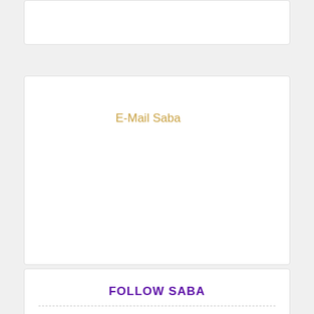E-Mail Saba
FOLLOW SABA
Please follow me on these amazing social media sites:
Follow us on Twitter